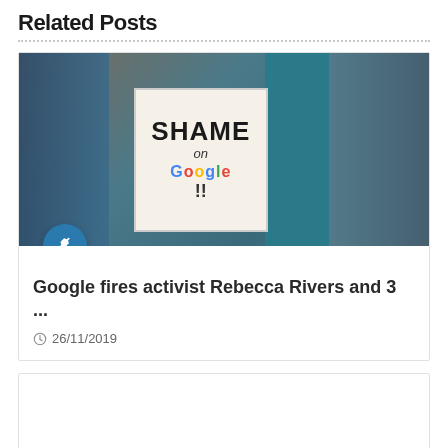Related Posts
[Figure (photo): Protesters outside a building; a bearded man wearing sunglasses holds a sign reading 'SHAME on Google!!']
Google fires activist Rebecca Rivers and 3 ...
26/11/2019
[Figure (photo): Technology themed image with glowing circles and digital network lines on dark blue/teal background]